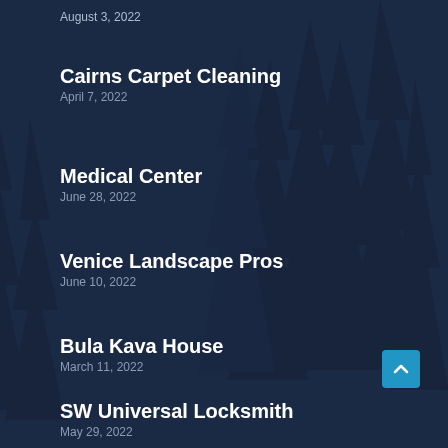August 3, 2022
Cairns Carpet Cleaning
April 7, 2022
Medical Center
June 28, 2022
Venice Landscape Pros
June 10, 2022
Bula Kava House
March 11, 2022
SW Universal Locksmith
May 29, 2022